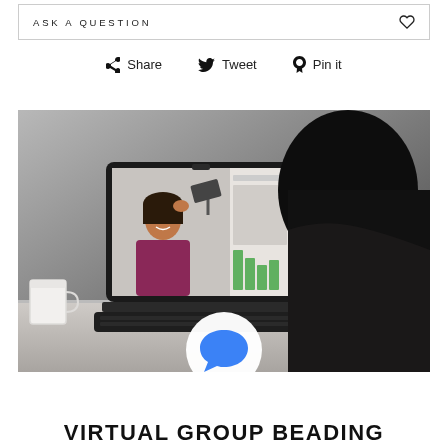ASK A QUESTION
Share  Tweet  Pin it
[Figure (photo): Person sitting at desk looking at laptop screen showing a video call with a woman smiling; a white mug is on the left side of the desk; dark silhouette of the person occupies the right side of the image]
VIRTUAL GROUP BEADING